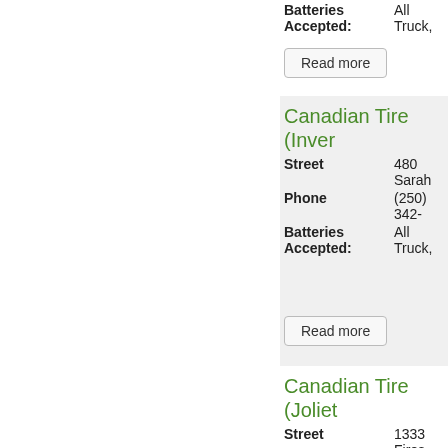Batteries Accepted: All Truck, ...
Read more
Canadian Tire (Inver...
Street: 480 Sarah...
Phone: (250) 342-...
Batteries Accepted: All Truck, ...
Read more
Canadian Tire (Joliet...
Street: 1333 Fires...
Phone: 514-756-1...
Batteries Accepted: All Truck, ...
Read more